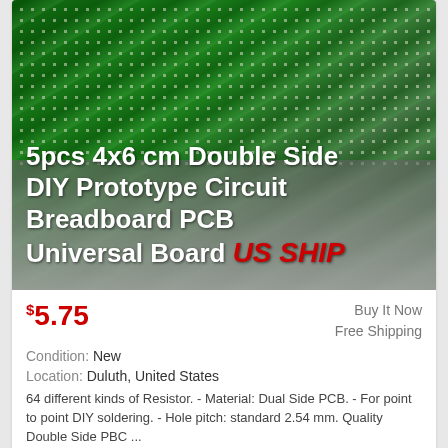[Figure (photo): Multiple green PCB circuit boards fanned out showing dot matrix patterns and components, with text overlay showing product title and US SHIP label]
5pcs 4x6 cm Double Side DIY Prototype Circuit Breadboard PCB Universal Board US SHIP
$5.75
Buy It Now
Free Shipping
Condition: New
Location: Duluth, United States
64 different kinds of Resistor. - Material: Dual Side PCB. - For point to point DIY soldering. - Hole pitch: standard 2.54 mm. Quality Double Side PBC ... more
[Figure (other): Blue banner with white bold text reading 5PCS 8X12 PCB]